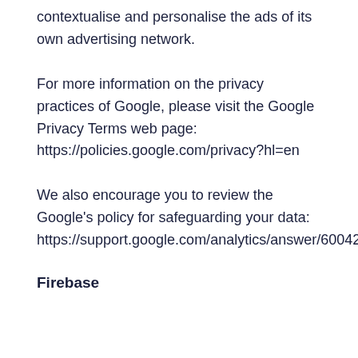contextualise and personalise the ads of its own advertising network.
For more information on the privacy practices of Google, please visit the Google Privacy Terms web page: https://policies.google.com/privacy?hl=en
We also encourage you to review the Google's policy for safeguarding your data: https://support.google.com/analytics/answer/6004245.
Firebase